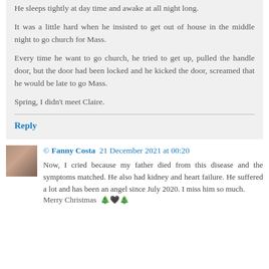He sleeps tightly at day time and awake at all night long.

It was a little hard when he insisted to get out of house in the middle night to go church for Mass.

Every time he want to go church, he tried to get up, pulled the handle door, but the door had been locked and he kicked the door, screamed that he would be late to go Mass.

Spring, I didn't meet Claire.
Reply
© Fanny Costa  21 December 2021 at 00:20
Now, I cried because my father died from this disease and the symptoms matched. He also had kidney and heart failure. He suffered a lot and has been an angel since July 2020. I miss him so much.
Merry Christmas 🎄🖤🎄